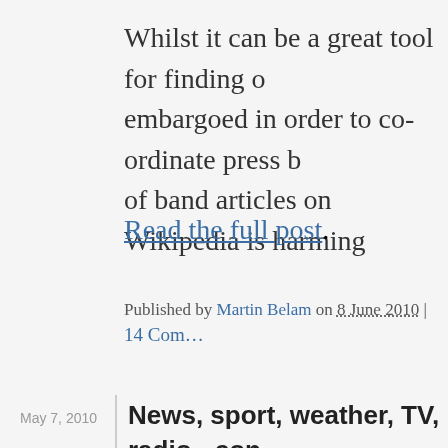Whilst it can be a great tool for finding o… embargoed in order to co-ordinate press b… of band articles on Wikipedia is harming…
Read the full post.
Published by Martin Belam on 8 June 2010 | 14 Com…
May 7, 2010
News, sport, weather, TV, radio - con… the BBC's global navigation
M…